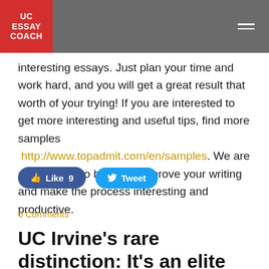UC ESSAY COACH
interesting essays. Just plan your time and work hard, and you will get a great result that worth of your trying! If you are interested to get more interesting and useful tips, find more samples http://www.topadmit.com/en/samples. We are always glad to help you improve your writing and make the process interesting and productive.
[Figure (other): Facebook Like button showing 9 likes and Twitter Tweet button]
0 Comments
UC Irvine's rare distinction: It's an elite research university that's a haven for Latinos